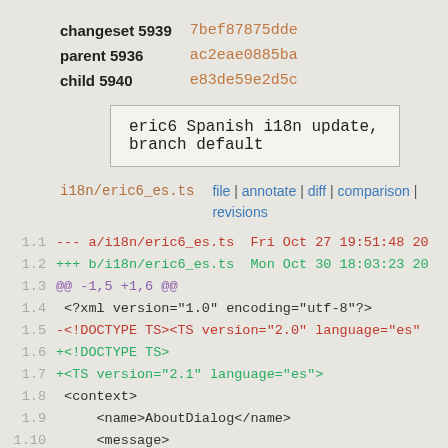| changeset 5939 | 7bef87875dde |
| parent 5936 | ac2eae0885ba |
| child 5940 | e83de59e2d5c |
eric6 Spanish i18n update, branch default
i18n/eric6_es.ts   file | annotate | diff | comparison | revisions
1.1  --- a/i18n/eric6_es.ts  Fri Oct 27 19:51:48 20
1.2  +++ b/i18n/eric6_es.ts  Mon Oct 30 18:03:23 20
1.3  @@ -1,5 +1,6 @@
1.4   <?xml version="1.0" encoding="utf-8"?>
1.5  -<!DOCTYPE TS><TS version="2.0" language="es"
1.6  +<!DOCTYPE TS>
1.7  +<TS version="2.1" language="es">
1.8   <context>
1.9       <name>AboutDialog</name>
1.10      <message>
1.11 @@ -1944,8 +1945,8 @@